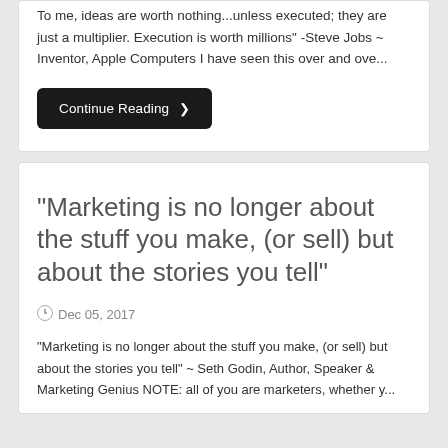To me, ideas are worth nothing...unless executed; they are just a multiplier. Execution is worth millions" -Steve Jobs ~ Inventor, Apple Computers I have seen this over and ove...
Continue Reading ❯
“Marketing is no longer about the stuff you make, (or sell) but about the stories you tell”
Dec 05, 2017
“Marketing is no longer about the stuff you make, (or sell) but about the stories you tell” ~ Seth Godin, Author, Speaker & Marketing Genius NOTE: all of you are marketers, whether y...